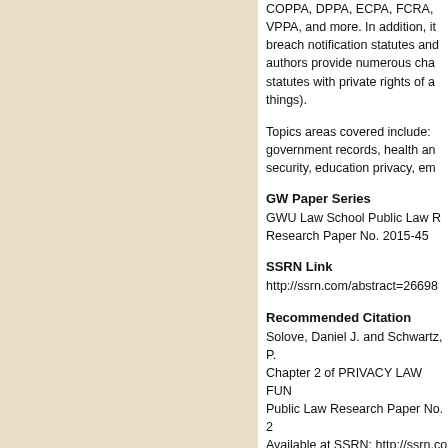COPPA, DPPA, ECPA, FCRA, VPPA, and more. In addition, it breach notification statutes and authors provide numerous cha statutes with private rights of a things).
Topics areas covered include: government records, health and security, education privacy, em
GW Paper Series
GWU Law School Public Law Research Paper No. 2015-45
SSRN Link
http://ssrn.com/abstract=26698
Recommended Citation
Solove, Daniel J. and Schwartz, P. Chapter 2 of PRIVACY LAW FUN Public Law Research Paper No. 2 Available at SSRN: http://ssrn.co